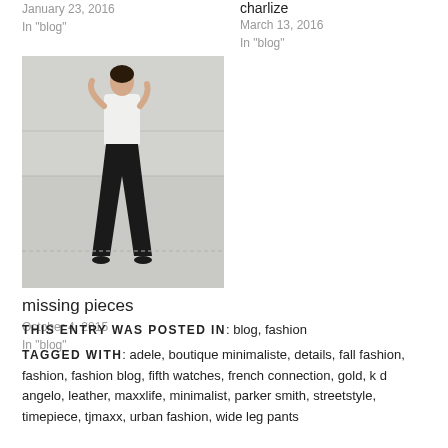January 23, 2016
In "blog"
charlize
March 13, 2016
In "blog"
[Figure (photo): A woman in a white top and black wide-leg pants standing against a concrete wall]
missing pieces
October 4, 2015
In "blog"
THIS ENTRY WAS POSTED IN: blog, fashion
TAGGED WITH: adele, boutique minimaliste, details, fall fashion, fashion, fashion blog, fifth watches, french connection, gold, k d angelo, leather, maxxlife, minimalist, parker smith, streetstyle, timepiece, tjmaxx, urban fashion, wide leg pants